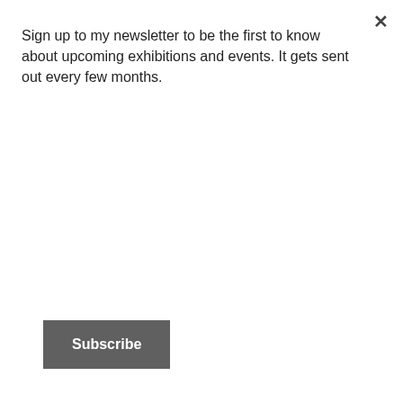Sign up to my newsletter to be the first to know about upcoming exhibitions and events. It gets sent out every few months.
Subscribe
January 2016
December 2015
November 2015
September 2015
August 2015
June 2015
May 2015
April 2015
March 2015
February 2015
December 2014
November 2014
October 2014
September 2014
August 2014